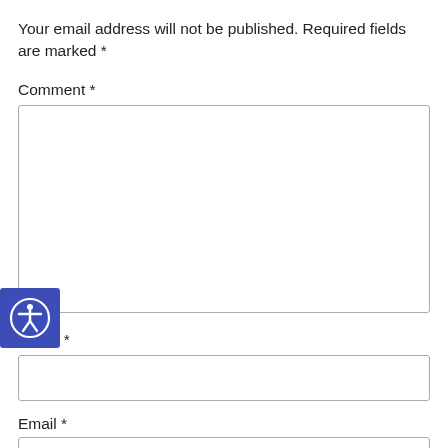Your email address will not be published. Required fields are marked *
Comment *
[Figure (screenshot): Empty comment textarea input box with resize handle]
[Figure (logo): Accessibility icon: blue square with white person/accessibility symbol inside circle]
Name *
[Figure (screenshot): Empty name text input box]
Email *
Generated by Feedzy
[Figure (screenshot): Partially visible empty email text input box]